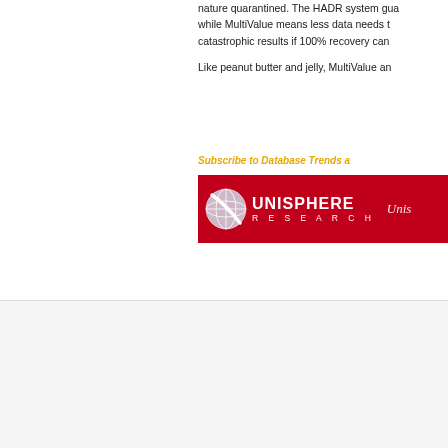nature quarantined. The HADR system gua while MultiValue means less data needs t catastrophic results if 100% recovery can
Like peanut butter and jelly, MultiValue an
Subscribe to Database Trends a
[Figure (logo): Unisphere Research logo on red background banner]
PUBLI
[Figure (photo): Publication card: Unlocking Mainframe Data for - dark blue cover with person image]
[Figure (photo): Publication card: Top Cloud Data Warehouses for the Future - green header with person image]